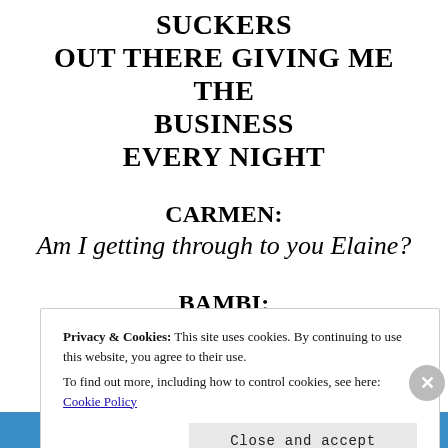SUCKERS OUT THERE GIVING ME THE BUSINESS EVERY NIGHT
CARMEN:
Am I getting through to you Elaine?
BAMBI:
I'm sorry mother but to me the theatre is a temple
Privacy & Cookies: This site uses cookies. By continuing to use this website, you agree to their use. To find out more, including how to control cookies, see here: Cookie Policy
Close and accept
BROWSING